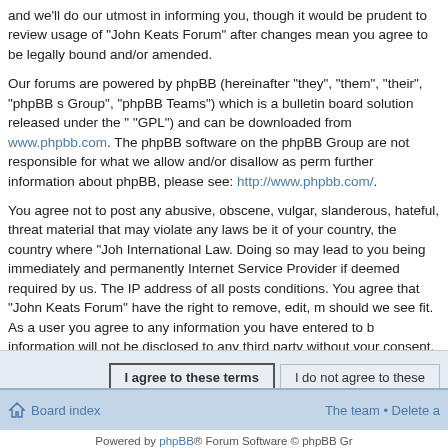and we'll do our utmost in informing you, though it would be prudent to review usage of "John Keats Forum" after changes mean you agree to be legally bound and/or amended.
Our forums are powered by phpBB (hereinafter "they", "them", "their", "phpBB Group", "phpBB Teams") which is a bulletin board solution released under the "GPL") and can be downloaded from www.phpbb.com. The phpBB software on the phpBB Group are not responsible for what we allow and/or disallow as permitted further information about phpBB, please see: http://www.phpbb.com/.
You agree not to post any abusive, obscene, vulgar, slanderous, hateful, threatening material that may violate any laws be it of your country, the country where "John Keats Forum" is hosted or International Law. Doing so may lead to you being immediately and permanently banned, with notification of your Internet Service Provider if deemed required by us. The IP address of all posts are recorded to aid in enforcing these conditions. You agree that "John Keats Forum" have the right to remove, edit, move or close any topic at any time should we see fit. As a user you agree to any information you have entered to be stored in a database. While this information will not be disclosed to any third party without your consent, neither "John Keats Forum" nor phpBB shall be held responsible for any hacking attempt that may lead to the data being compromised.
[Figure (screenshot): Two buttons: 'I agree to these terms' (bold border) and 'I do not agree to these terms']
Board index | The team • Delete a
Powered by phpBB® Forum Software © phpBB Group